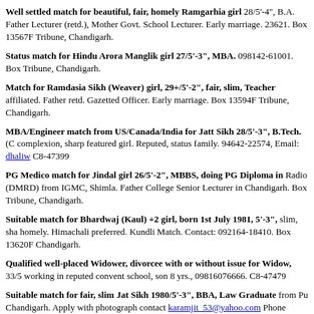Well settled match for beautiful, fair, homely Ramgarhia girl 28/5'-4", B.A. Father Lecturer (retd.), Mother Govt. School Lecturer. Early marriage. 23621. Box 13567F Tribune, Chandigarh.
Status match for Hindu Arora Manglik girl 27/5'-3", MBA. 098142-61001. Box Tribune, Chandigarh.
Match for Ramdasia Sikh (Weaver) girl, 29+/5'-2", fair, slim, Teacher affiliated. Father retd. Gazetted Officer. Early marriage. Box 13594F Tribune, Chandigarh.
MBA/Engineer match from US/Canada/India for Jatt Sikh 28/5'-3", B.Tech. (C complexion, sharp featured girl. Reputed, status family. 94642-22574, Email: dhaliw C8-47399
PG Medico match for Jindal girl 26/5'-2", MBBS, doing PG Diploma in Radio (DMRD) from IGMC, Shimla. Father College Senior Lecturer in Chandigarh. Box Tribune, Chandigarh.
Suitable match for Bhardwaj (Kaul) +2 girl, born 1st July 1981, 5'-3", slim, sha homely. Himachali preferred. Kundli Match. Contact: 092164-18410. Box 13620F Chandigarh.
Qualified well-placed Widower, divorcee with or without issue for Widow, 33/5 working in reputed convent school, son 8 yrs., 09816076666. C8-47479
Suitable match for fair, slim Jat Sikh 1980/5'-3", BBA, Law Graduate from Pu Chandigarh. Apply with photograph contact karamjit_53@yahoo.com Phone 98159 4630107. Box 13634F Tribune, Chandigarh.
Suitable match for beautiful, slim girl 28/5'-3", B.Tech. Computer. Working M